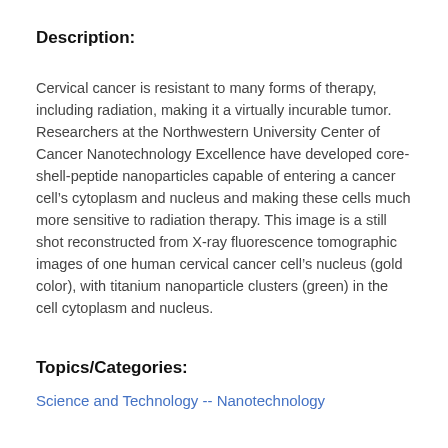Description:
Cervical cancer is resistant to many forms of therapy, including radiation, making it a virtually incurable tumor. Researchers at the Northwestern University Center of Cancer Nanotechnology Excellence have developed core-shell-peptide nanoparticles capable of entering a cancer cell’s cytoplasm and nucleus and making these cells much more sensitive to radiation therapy. This image is a still shot reconstructed from X-ray fluorescence tomographic images of one human cervical cancer cell’s nucleus (gold color), with titanium nanoparticle clusters (green) in the cell cytoplasm and nucleus.
Topics/Categories:
Science and Technology -- Nanotechnology